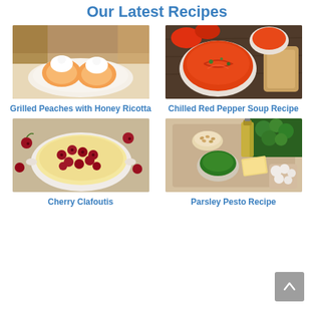Our Latest Recipes
[Figure (photo): Grilled peaches topped with whipped cream on a white plate]
Grilled Peaches with Honey Ricotta
[Figure (photo): Chilled red pepper soup in white bowls with bread on dark wooden surface]
Chilled Red Pepper Soup Recipe
[Figure (photo): Cherry clafoutis in a white oval baking dish surrounded by fresh cherries]
Cherry Clafoutis
[Figure (photo): Parsley pesto ingredients on a wooden cutting board including herbs, oil, pine nuts, cheese and garlic]
Parsley Pesto Recipe